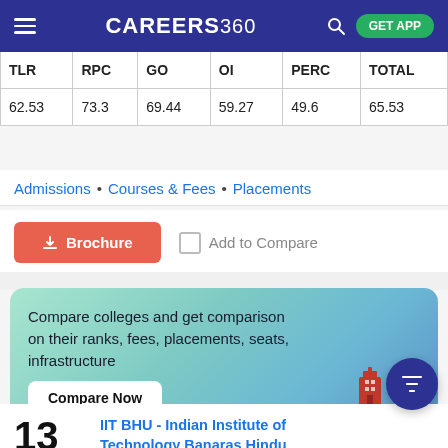CAREERS 360
| TLR | RPC | GO | OI | PERC | TOTAL |
| --- | --- | --- | --- | --- | --- |
| 62.53 | 73.3 | 69.44 | 59.27 | 49.6 | 65.53 |
Admissions • Courses & Fees • Placements
Brochure   Add to Compare
Compare colleges and get comparison on their ranks, fees, placements, seats, infrastructure
Compare Now
13
NIRF Rank'22
IIT BHU - Indian Institute of Technology Banaras Hindu University
4.4/5   62 Reviews
Ownership: Public/Government